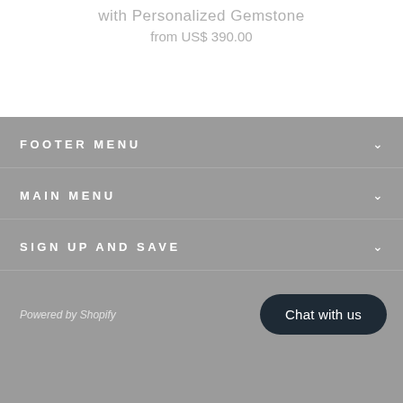with Personalized Gemstone
from US$ 390.00
FOOTER MENU
MAIN MENU
SIGN UP AND SAVE
Powered by Shopify
Chat with us